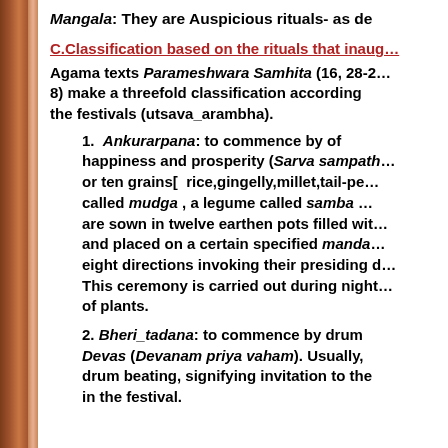Mangala: They are Auspicious rituals- as de…
C.Classification based on the rituals that inaug…
Agama texts Parameshwara Samhita (16, 28-2… 8) make a threefold classification according… the festivals (utsava_arambha).
1. Ankurarpana: to commence by of… happiness and prosperity (Sarva sampath… or ten grains[ rice,gingelly,millet,tail-pe… called mudga , a legume called samba … are sown in twelve earthen pots filled wit… and placed on a certain specified manda… eight directions invoking their presiding d… This ceremony is carried out during night… of plants.
2. Bheri_tadana: to commence by drum… Devas (Devanam priya vaham). Usually,… drum beating, signifying invitation to the… in the festival.